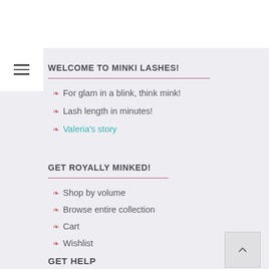WELCOME TO MINKI LASHES!
For glam in a blink, think mink!
Lash length in minutes!
Valeria's story
GET ROYALLY MINKED!
Shop by volume
Browse entire collection
Cart
Wishlist
GET HELP